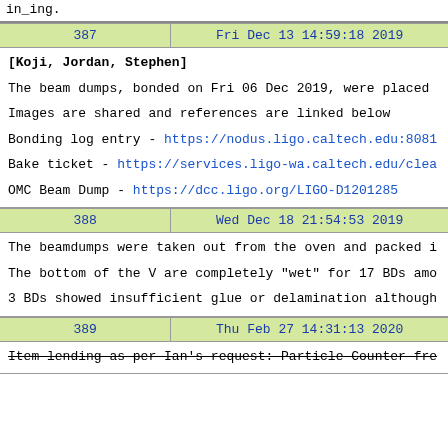in_ing.
| 387 | Fri Dec 13 14:59:18 2019 |
| --- | --- |
| [Koji, Jordan, Stephen]

The beam dumps, bonded on Fri 06 Dec 2019, were placed
Images are shared and references are linked below
Bonding log entry - https://nodus.ligo.caltech.edu:8081
Bake ticket - https://services.ligo-wa.caltech.edu/clea
OMC Beam Dump - https://dcc.ligo.org/LIGO-D1201285 |
| 388 | Wed Dec 18 21:54:53 2019 |
| --- | --- |
| The beamdumps were taken out from the oven and packed i
The bottom of the V are completely "wet" for 17 BDs amo
3 BDs showed insufficient glue or delamination although |
| 389 | Thu Feb 27 14:31:13 2020 |
| --- | --- |
| Item lending as per Ian's request: Particle Counter fre |